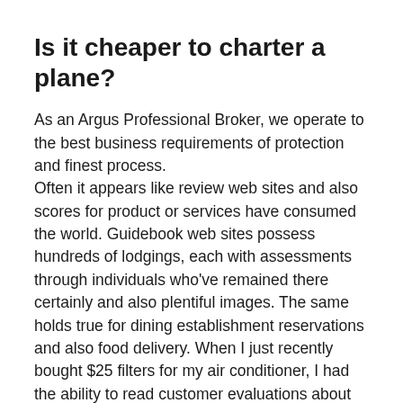Is it cheaper to charter a plane?
As an Argus Professional Broker, we operate to the best business requirements of protection and finest process. Often it appears like review web sites and also scores for product or services have consumed the world. Guidebook web sites possess hundreds of lodgings, each with assessments through individuals who’ve remained there certainly and also plentiful images. The same holds true for dining establishment reservations and also food delivery. When I just recently bought $25 filters for my air conditioner, I had the ability to read customer evaluations about loads of sites.